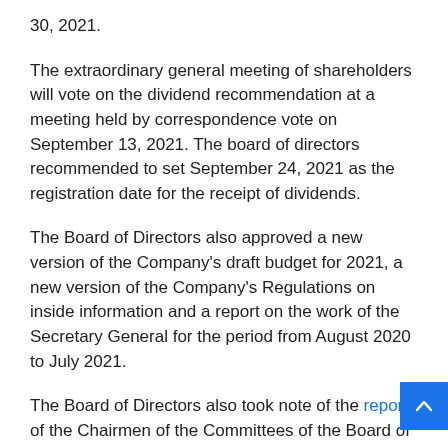30, 2021.
The extraordinary general meeting of shareholders will vote on the dividend recommendation at a meeting held by correspondence vote on September 13, 2021. The board of directors recommended to set September 24, 2021 as the registration date for the receipt of dividends.
The Board of Directors also approved a new version of the Company's draft budget for 2021, a new version of the Company's Regulations on inside information and a report on the work of the Secretary General for the period from August 2020 to July 2021.
The Board of Directors also took note of the reports of the Chairmen of the Committees of the Board of the Company on the work of the respective committees for Q2 2021, of a report on the Company's strategy concerning international projects and collaboration with investors, a progress report on the implementation of the measures provided for in the Company's